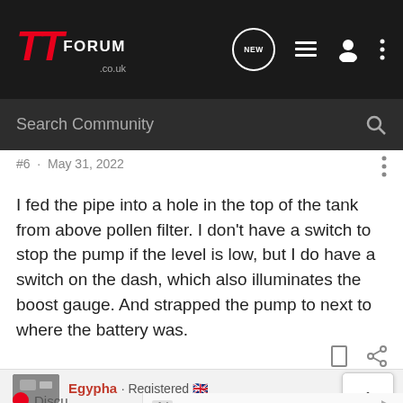TTForum .co.uk — Search Community
#6 · May 31, 2022
I fed the pipe into a hole in the top of the tank from above pollen filter. I don't have a switch to stop the pump if the level is low, but I do have a switch on the dash, which also illuminates the boost gauge. And strapped the pump to next to where the battery was.
Egypha · Registered 🇬🇧
Ad — Best Areas for 55+ Living — Cresswind — Learn more